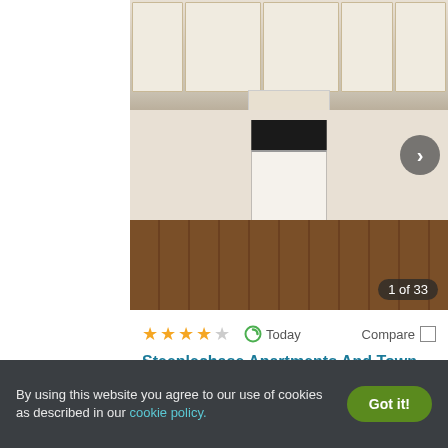[Figure (photo): Kitchen interior with white cabinets, range hood, black stove, and hardwood floor]
1 of 33
★★★★☆  Today  Compare
Steeplechase Apartments And Townho...
1009 N Holland Sylvania Rd, Toledo, OH 43615
✓ 18 Units available   ✓ Verified
2 BEDS
$1,230+
By using this website you agree to our use of cookies as described in our cookie policy.